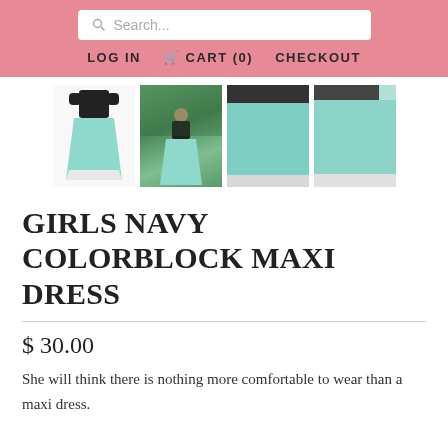Search... | LOG IN | CART (0) | CHECKOUT
[Figure (photo): Four product thumbnail images of a girls navy colorblock maxi dress showing illustrated dress, outdoor photo of girl wearing dress, close-up of mint skirt, and side view of mint skirt]
GIRLS NAVY COLORBLOCK MAXI DRESS
$ 30.00
She will think there is nothing more comfortable to wear than a maxi dress.